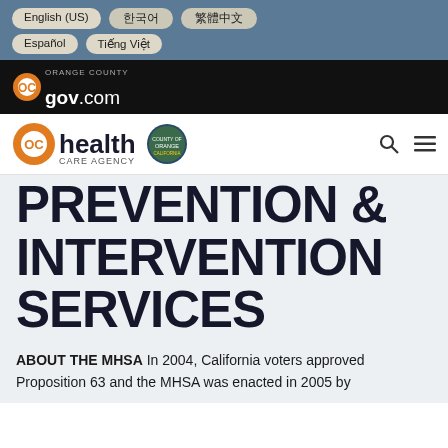English (US) | 한국어 | 繁體中文 | Español | Tiếng Việt
[Figure (logo): OCgov.com Orange County government website logo on black bar]
[Figure (logo): OC Health Care Agency logo with orange OC icon and county seal, search and menu icons]
PREVENTION & INTERVENTION SERVICES
ABOUT THE MHSA In 2004, California voters approved Proposition 63 and the MHSA was enacted in 2005 by